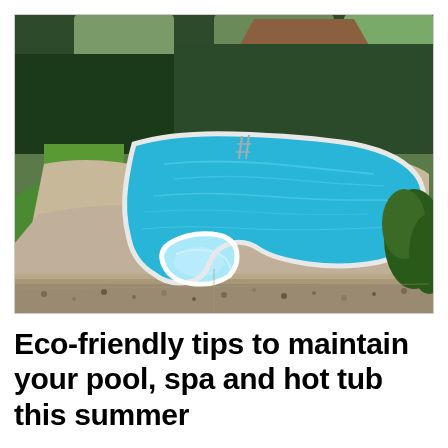[Figure (photo): Aerial view of a freeform outdoor swimming pool with spa area surrounded by concrete decking, green lawn, shrubs, and trees in a residential backyard.]
Eco-friendly tips to maintain your pool, spa and hot tub this summer